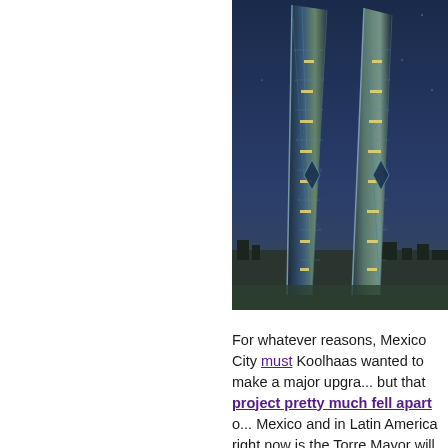[Figure (photo): Two tall modern skyscrapers with angular twisted forms, illuminated at night against a dark blue sky, with a city skyline visible at the base. The towers have distinctive diamond/lattice facade patterns with glowing interior lights.]
For whatever reasons, Mexico City must have appealed to Koolhaas wanted to make a major upgrade to his building, but that project pretty much fell apart of Mexico and in Latin America right now is the Torre Mayor will be surpassed by the It will be incorporating a historic building already on the site.